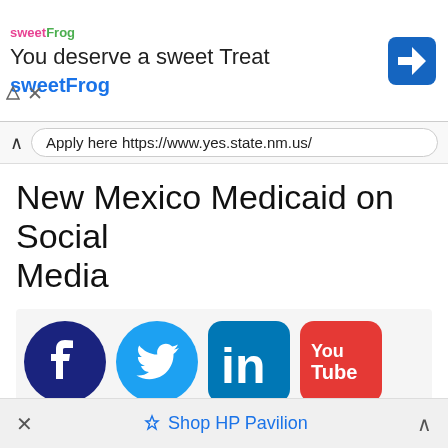[Figure (screenshot): SweetFrog advertisement banner with logo, text 'You deserve a sweet Treat', 'sweetFrog', and a blue navigation arrow icon]
Apply here https://www.yes.state.nm.us/
New Mexico Medicaid on Social Media
[Figure (infographic): Social media icons: Facebook (dark blue circle with f), Twitter (blue circle with bird), LinkedIn (blue rounded square with 'in'), YouTube (red rounded square with 'You Tube')]
About New Mexico Medicaid
[Figure (screenshot): Bottom browser bar with X close button, 'Shop HP Pavilion' text with tag icon, and expand chevron]